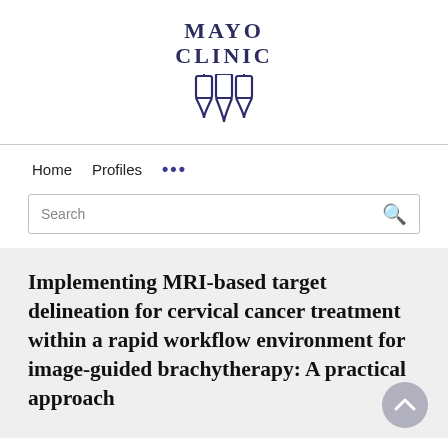[Figure (logo): Mayo Clinic logo with text 'MAYO CLINIC' and three shield/torch icons in navy blue]
Home   Profiles   ...
Search
Implementing MRI-based target delineation for cervical cancer treatment within a rapid workflow environment for image-guided brachytherapy: A practical approach